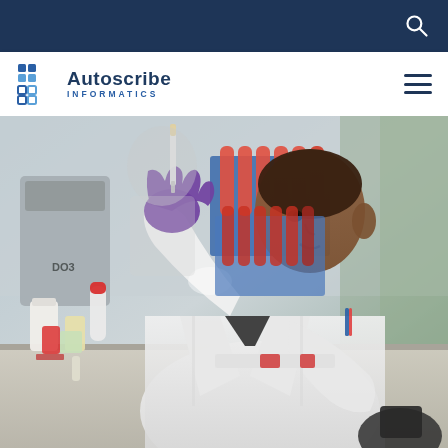Navigation bar with search icon
[Figure (logo): Autoscribe Informatics logo with grid icon, company name and tagline]
[Figure (photo): Laboratory scientist in white coat and purple gloves examining test tube samples in a rack, seated at a laboratory workbench with equipment and supplies]